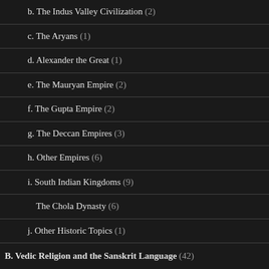b. The Indus Valley Civilization (2)
c. The Aryans (1)
d. Alexander the Great (1)
e. The Mauryan Empire (2)
f. The Gupta Empire (2)
g. The Deccan Empires (3)
h. Other Empires (6)
i. South Indian Kingdoms (9)
The Chola Dynasty (6)
j. Other Historic Topics (1)
B. Vedic Religion and the Sanskrit Language (42)
a. The Vedic Samhitas (4)
b. Vedic Deities (8)